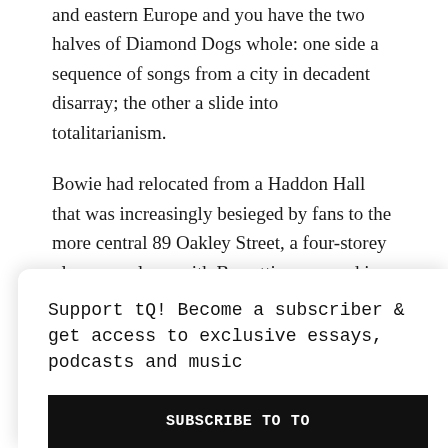and eastern Europe and you have the two halves of Diamond Dogs whole: one side a sequence of songs from a city in decadent disarray; the other a slide into totalitarianism.
Bowie had relocated from a Haddon Hall that was increasingly besieged by fans to the more central 89 Oakley Street, a four-storey pleasure palace, with Burretti ensconced in the basement as his on-call tailor, a sunken living room, green-and-white eyeball chairs and countless hi-tech gadgets. Oakley Street was also close enough for Bowie to keep an eye on Mick Jagger, who was a stone's throw away on Cheyne Walk. Bowie's fascination with The Rolling Stones was ever-deepening. Aladdin Sane contained a stab at Exile-style insouciance (RCA had originally wanted Ken Scott to remix 'Watch That Man' with less upfront guitars), a reference to Jagger on 'Drive-In... Spend The... strobe-light... rival, peer a...
Support tQ! Become a subscriber & get access to exclusive essays, podcasts and music
SUBSCRIBE TO TO